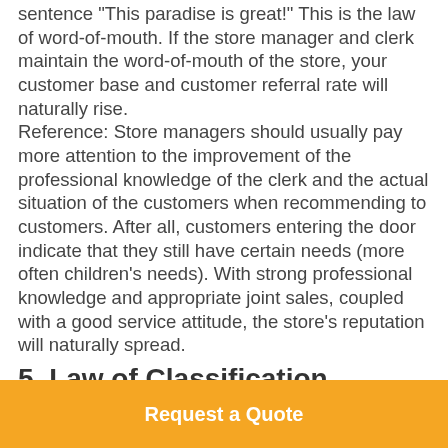sentence "This paradise is great!" This is the law of word-of-mouth. If the store manager and clerk maintain the word-of-mouth of the store, your customer base and customer referral rate will naturally rise. Reference: Store managers should usually pay more attention to the improvement of the professional knowledge of the clerk and the actual situation of the customers when recommending to customers. After all, customers entering the door indicate that they still have certain needs (more often children's needs). With strong professional knowledge and appropriate joint sales, coupled with a good service attitude, the store's reputation will naturally spread.
5. Law of Classification
In fact, the customers of each store can be classified according to age, occupation,
Request a Quote